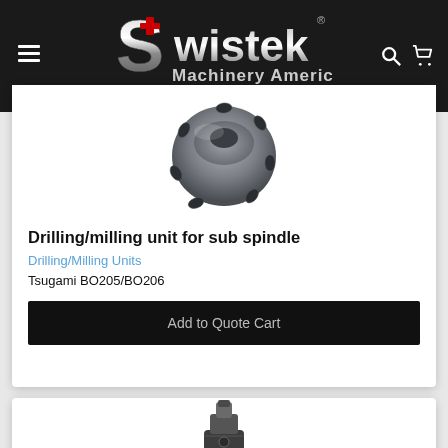≡  Swistek Machinery America  🔍 🛒
[Figure (photo): Close-up photo of a drilling/milling unit tool head (dark gray metallic, circular with cutting inserts) for sub spindle]
Drilling/milling unit for sub spindle
Drilling/Milling Units
Tsugami BO205/BO206
Add to Quote Cart
[Figure (photo): Close-up photo of a smaller dark gray milling/drilling tool unit attachment, partially visible at bottom of page]